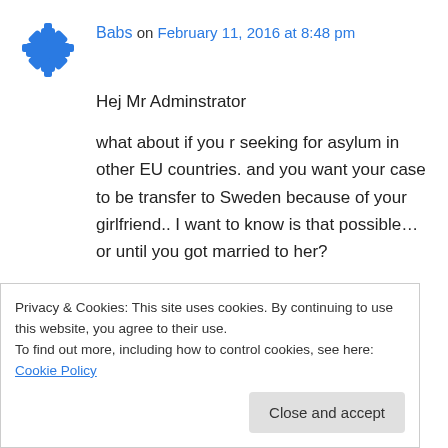Babs on February 11, 2016 at 8:48 pm
Hej Mr Adminstrator
what about if you r seeking for asylum in other EU countries. and you want your case to be transfer to Sweden because of your girlfriend.. I want to know is that possible… or until you got married to her?
↪ Reply
Privacy & Cookies: This site uses cookies. By continuing to use this website, you agree to their use.
To find out more, including how to control cookies, see here: Cookie Policy
Close and accept
I don't think they would consider